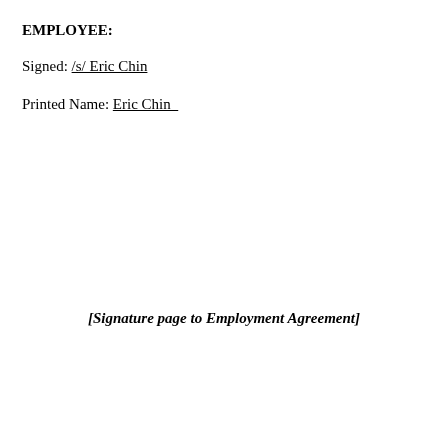EMPLOYEE:
Signed: /s/ Eric Chin
Printed Name: Eric Chin
[Signature page to Employment Agreement]